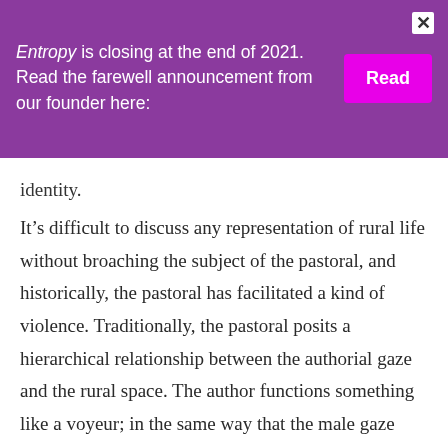Entropy is closing at the end of 2021. Read the farewell announcement from our founder here: [Read]
identity.
It’s difficult to discuss any representation of rural life without broaching the subject of the pastoral, and historically, the pastoral has facilitated a kind of violence. Traditionally, the pastoral posits a hierarchical relationship between the authorial gaze and the rural space. The author functions something like a voyeur; in the same way that the male gaze reduces a woman to an object, the pastoral poet violently reduces the rural